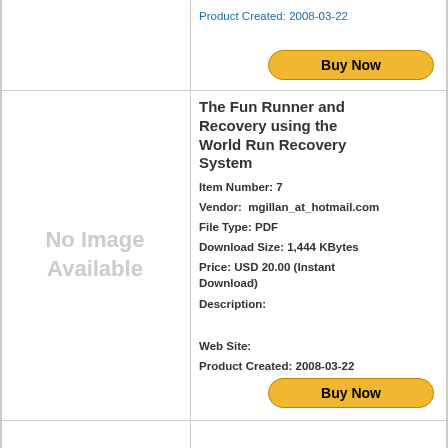Product Created: 2008-03-22
[Figure (other): Buy Now button (PayPal-style golden rounded button)]
The Fun Runner and Recovery using the World Run Recovery System
Item Number: 7
Vendor: mgillan_at_hotmail.com
File Type: PDF
Download Size: 1,444 KBytes
Price: USD 20.00 (Instant Download)
Description:
Web Site:
Product Created: 2008-03-22
[Figure (other): Buy Now button (PayPal-style golden rounded button)]